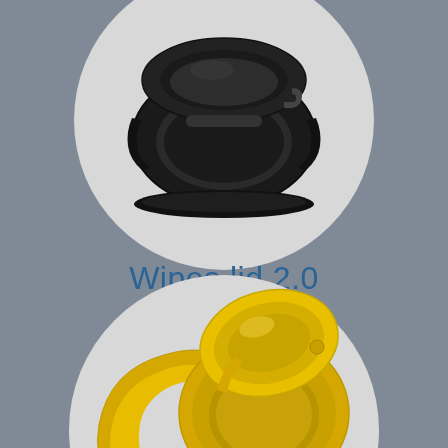[Figure (photo): Black plastic wipes lid component viewed from above, showing the oval/ring shape with a flip-top hinge mechanism, displayed inside a light gray circle on a gray background]
Wipes lid 2.0
[Figure (photo): Yellow plastic wipes lid 2.0 component shown open, displaying the double-leaf flip-top closure with oval opening, viewed from above at an angle, inside a light gray circle on a gray background]